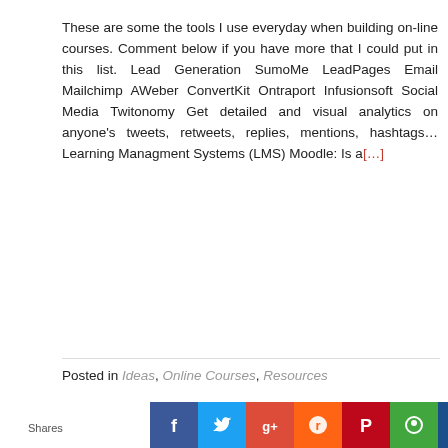These are some the tools I use everyday when building on-line courses. Comment below if you have more that I could put in this list. Lead Generation SumoMe LeadPages Email Mailchimp AWeber ConvertKit Ontraport Infusionsoft Social Media Twitonomy Get detailed and visual analytics on anyone's tweets, retweets, replies, mentions, hashtags... Learning Managment Systems (LMS) Moodle: Is a[...]
Posted in Ideas, Online Courses, Resources
[Figure (illustration): Infographic showing a cartoon man with raised arm next to a machine with light bulbs, banner text reading 'THAT MAKE MONEY' in orange]
[Figure (infographic): Social sharing bar with colored buttons: blue Facebook, light-blue Twitter, red Google+, orange Reddit, red Pinterest, green, and dark blue icons]